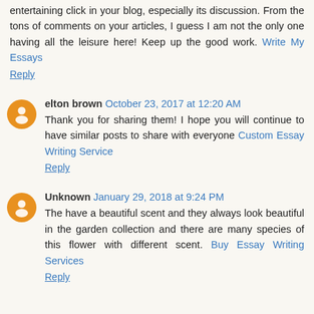entertaining click in your blog, especially its discussion. From the tons of comments on your articles, I guess I am not the only one having all the leisure here! Keep up the good work. Write My Essays
Reply
elton brown October 23, 2017 at 12:20 AM
Thank you for sharing them! I hope you will continue to have similar posts to share with everyone Custom Essay Writing Service
Reply
Unknown January 29, 2018 at 9:24 PM
The have a beautiful scent and they always look beautiful in the garden collection and there are many species of this flower with different scent. Buy Essay Writing Services
Reply